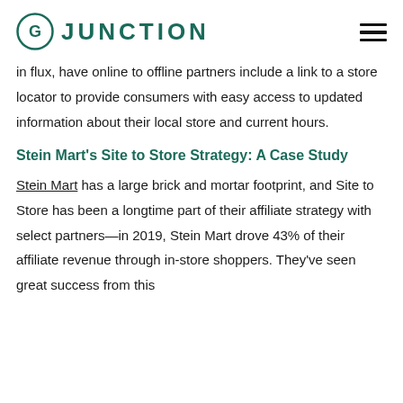JUNCTION
in flux, have online to offline partners include a link to a store locator to provide consumers with easy access to updated information about their local store and current hours.
Stein Mart's Site to Store Strategy: A Case Study
Stein Mart has a large brick and mortar footprint, and Site to Store has been a longtime part of their affiliate strategy with select partners—in 2019, Stein Mart drove 43% of their affiliate revenue through in-store shoppers. They've seen great success from this